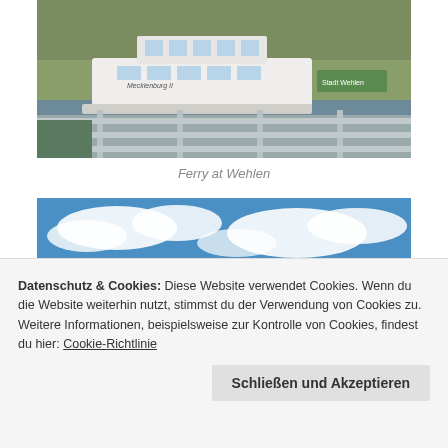[Figure (photo): Photograph of a white passenger ferry boat docked at Wehlen ferry landing on a river with green hills in background. A sign reading 'Stadt Wehlen' is visible on a green post.]
Ferry at Wehlen
[Figure (photo): Photograph showing blue sky with white clouds over a river landscape.]
Datenschutz & Cookies: Diese Website verwendet Cookies. Wenn du die Website weiterhin nutzt, stimmst du der Verwendung von Cookies zu. Weitere Informationen, beispielsweise zur Kontrolle von Cookies, findest du hier: Cookie-Richtlinie
[Figure (photo): Partial photograph of boats at a dock/marina.]